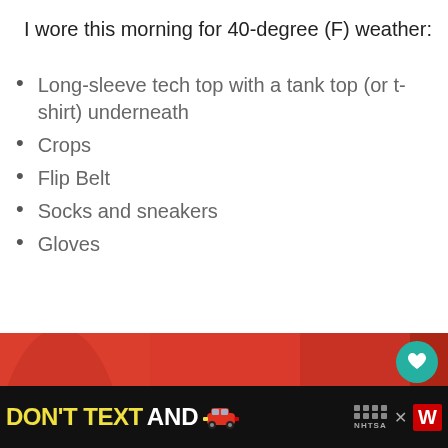I wore this morning for 40-degree (F) weather:
Long-sleeve tech top with a tank top (or t-shirt) underneath
Crops
Flip Belt
Socks and sneakers
Gloves
[Figure (photo): Person wearing a red long-sleeve tech top with 'OFFBALANCE' logo printed on the front, shown from neck to waist. Social media UI elements visible including heart button, share button with count '1', and 'WHAT'S NEXT: Morning Run by the Bay' thumbnail.]
[Figure (infographic): Ad banner: DON'T TEXT AND [car emoji] with NHTSA logo and ad badge and close button]